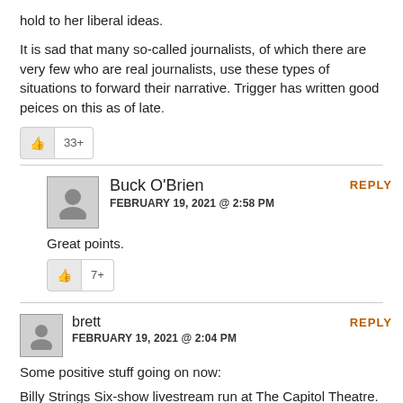hold to her liberal ideas.
It is sad that many so-called journalists, of which there are very few who are real journalists, use these types of situations to forward their narrative. Trigger has written good peices on this as of late.
33+
Buck O'Brien
FEBRUARY 19, 2021 @ 2:58 PM
REPLY
Great points.
7+
brett
FEBRUARY 19, 2021 @ 2:04 PM
REPLY
Some positive stuff going on now:
Billy Strings Six-show livestream run at The Capitol Theatre. Night one was ELECTRIC and the new songs are killer. Especially “Hide and Seek".